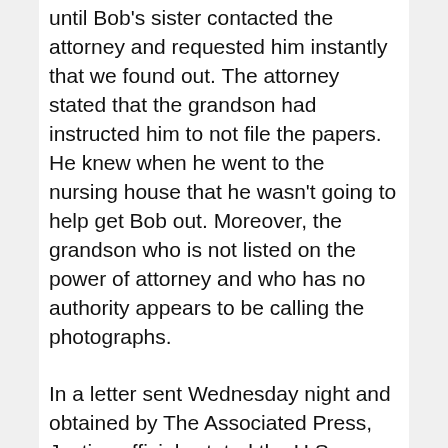until Bob's sister contacted the attorney and requested him instantly that we found out. The attorney stated that the grandson had instructed him to not file the papers. He knew when he went to the nursing house that he wasn't going to help get Bob out. Moreover, the grandson who is not listed on the power of attorney and who has no authority appears to be calling the photographs.
In a letter sent Wednesday night and obtained by The Associated Press, Justice officials stated the U.S. Constitution's Supremacy Clause outweighs the measure that Parson signed into regulation Saturday. The new rules penalize local police departments if their officers enforce federal gun legal guidelines.
When two individuals get divorced a marriage relationship that that they had is terminated